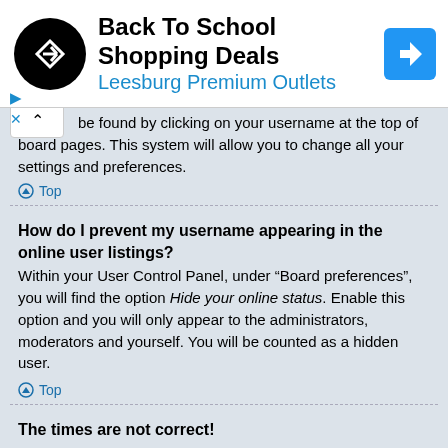[Figure (screenshot): Advertisement banner for Back To School Shopping Deals at Leesburg Premium Outlets with a black circular logo, blue text, and a blue directional arrow icon.]
be found by clicking on your username at the top of board pages. This system will allow you to change all your settings and preferences.
Top
How do I prevent my username appearing in the online user listings?
Within your User Control Panel, under “Board preferences”, you will find the option Hide your online status. Enable this option and you will only appear to the administrators, moderators and yourself. You will be counted as a hidden user.
Top
The times are not correct!
It is possible the time displayed is from a timezone different from the one you are in. If this is the case, visit your User Control Panel and change your timezone to match your particular area, e.g.